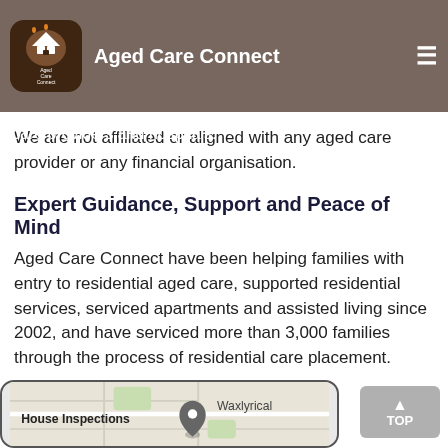Aged Care Connect
and experience in residential care placement and we make always receive accurate and unbiased information. trusted working relationships with quality aged care providers and hospitals.
We are not affiliated or aligned with any aged care provider or any financial organisation.
Expert Guidance, Support and Peace of Mind
Aged Care Connect have been helping families with entry to residential aged care, supported residential services, serviced apartments and assisted living since 2002, and have serviced more than 3,000 families through the process of residential care placement.
[Figure (map): A map showing location marker with 'House Inspections' label and 'Waxlyrical' text]